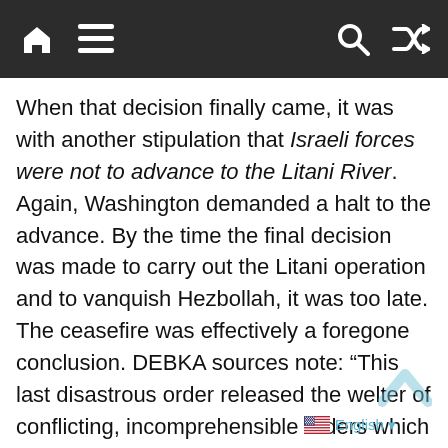[Navigation bar with home, menu, search, and shuffle icons]
When that decision finally came, it was with another stipulation that Israeli forces were not to advance to the Litani River. Again, Washington demanded a halt to the advance. By the time the final decision was made to carry out the Litani operation and to vanquish Hezbollah, it was too late. The ceasefire was effectively a foregone conclusion. DEBKA sources note: “This last disastrous order released the welter of conflicting, incomprehensible orders which stirred up the entire chain of command – from the heads of the IDF’s Northern Command down to the officers in the field. Operational orders designed to meet tactical combat situations were scrapped in mid-execution and new directives tumbled down the chute from above. Soldiers later complained that in one day, they were jerked into